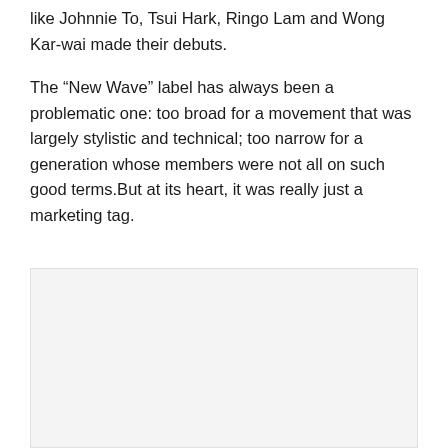like Johnnie To, Tsui Hark, Ringo Lam and Wong Kar-wai made their debuts.
The “New Wave” label has always been a problematic one: too broad for a movement that was largely stylistic and technical; too narrow for a generation whose members were not all on such good terms.But at its heart, it was really just a marketing tag.
[Figure (photo): Light grey rectangular image placeholder area at the bottom of the page]